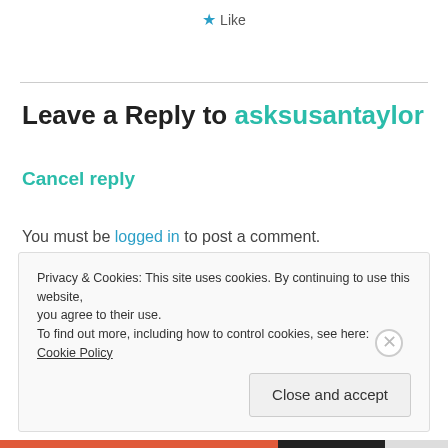★ Like
Leave a Reply to asksusantaylor
Cancel reply
You must be logged in to post a comment.
Privacy & Cookies: This site uses cookies. By continuing to use this website, you agree to their use.
To find out more, including how to control cookies, see here: Cookie Policy
Close and accept